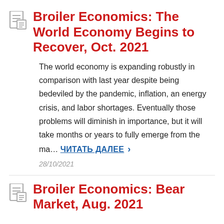Broiler Economics: The World Economy Begins to Recover, Oct. 2021
The world economy is expanding robustly in comparison with last year despite being bedeviled by the pandemic, inflation, an energy crisis, and labor shortages. Eventually those problems will diminish in importance, but it will take months or years to fully emerge from the ma… ЧИТАТЬ ДАЛЕЕ ›
28/10/2021
Broiler Economics: Bear Market, Aug. 2021
A robust bull market in grain, and indeed in many